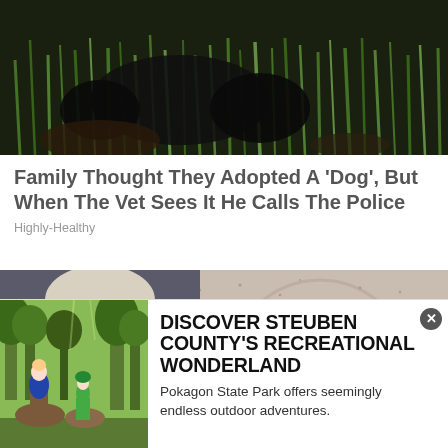[Figure (photo): Photo of a dark animal (dog-like) in tall green grass]
Family Thought They Adopted A 'Dog', But When The Vet Sees It He Calls The Police
Highly-Healthy
[Figure (photo): Shocked elderly man with glasses and open mouth, next to a sandy/speckled circular surface]
[Figure (photo): Advertisement: Forest/outdoor scene with people on horseback among trees]
DISCOVER STEUBEN COUNTY'S RECREATIONAL WONDERLAND
Pokagon State Park offers seemingly endless outdoor adventures.